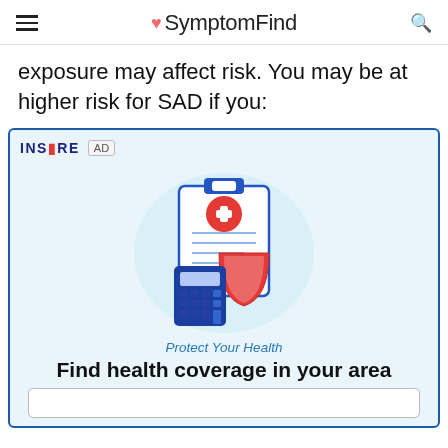SymptomFind
exposure may affect risk. You may be at higher risk for SAD if you:
[Figure (illustration): Health insurance advertisement illustration with clipboard showing medical cross, a calculator, a shield, and text 'Protect Your Health' and 'Find health coverage in your area'. Branded as INSURE AD.]